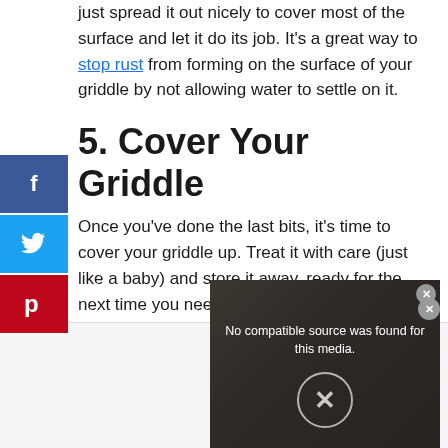just spread it out nicely to cover most of the surface and let it do its job. It's a great way to stop rust from forming on the surface of your griddle by not allowing water to settle on it.
5. Cover Your Griddle
Once you've done the last bits, it's time to cover your griddle up. Treat it with care (just like a baby) and store it away, ready for the next time you need to use it.
If you've followed the previous steps to a T, then you'll be happy in the knowledge that
[Figure (screenshot): Video player overlay showing 'No compatible source was found for this media.' with a close button and X circle icon, overlaid on a photo of a man wearing sunglasses.]